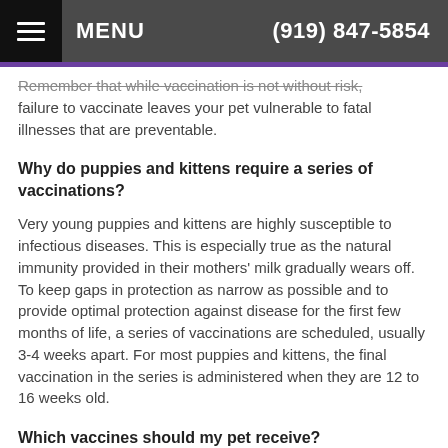MENU   (919) 847-5854
Remember that while vaccination is not without risk, failure to vaccinate leaves your pet vulnerable to fatal illnesses that are preventable.
Why do puppies and kittens require a series of vaccinations?
Very young puppies and kittens are highly susceptible to infectious diseases. This is especially true as the natural immunity provided in their mothers' milk gradually wears off. To keep gaps in protection as narrow as possible and to provide optimal protection against disease for the first few months of life, a series of vaccinations are scheduled, usually 3-4 weeks apart. For most puppies and kittens, the final vaccination in the series is administered when they are 12 to 16 weeks old.
Which vaccines should my pet receive?
Discuss with your veterinarian your pet's lifestyle, access to other animals, and travel to other